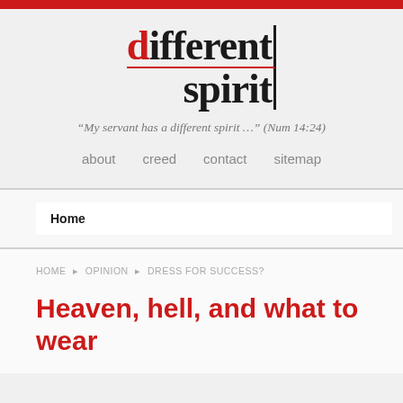[Figure (logo): Different Spirit blog logo with red 'd' and vertical bar accent]
“My servant has a different spirit …” (Num 14:24)
about   creed   contact   sitemap
Home
HOME   OPINION   DRESS FOR SUCCESS?
Heaven, hell, and what to wear